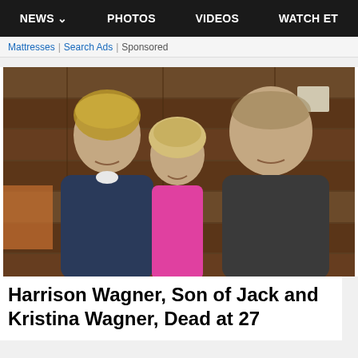NEWS   PHOTOS   VIDEOS   WATCH ET
Mattresses | Search Ads | Sponsored
[Figure (photo): Three people posing together smiling in front of a wooden wall background. Left: a man with sandy hair wearing a navy zip-up jacket. Center: a shorter blonde woman wearing a pink sleeveless top. Right: a taller man wearing a dark grey polo shirt.]
Harrison Wagner, Son of Jack and Kristina Wagner, Dead at 27